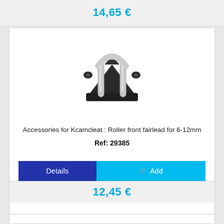14,65 €
[Figure (photo): Product photo of a roller front fairlead accessory for Kcamcleat, showing a black bracket with a stainless steel U-shaped roller guide]
Accessories for Kcamcleat : Roller front fairlead for 6-12mm
Ref: 29385
12,45 €